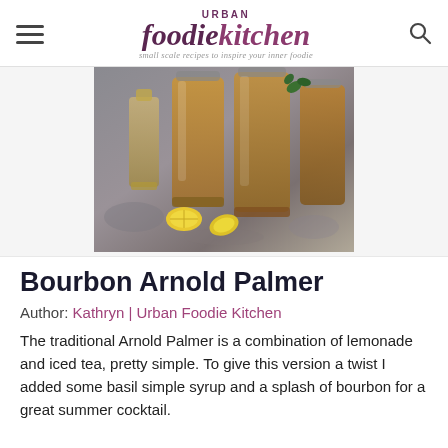Urban Foodie Kitchen — small scale recipes to inspire your inner foodie
[Figure (photo): Photo of drinks — mason jars with iced tea/bourbon Arnold Palmer cocktails, lemon slices, and garnishes on a dark stone surface]
Bourbon Arnold Palmer
Author: Kathryn | Urban Foodie Kitchen
The traditional Arnold Palmer is a combination of lemonade and iced tea, pretty simple. To give this version a twist I added some basil simple syrup and a splash of bourbon for a great summer cocktail.